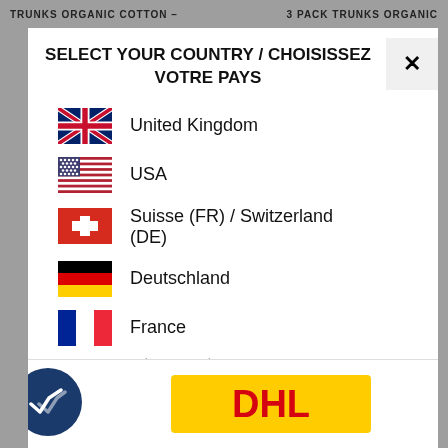TRUNKS ORGANIC COTTON – 3 PACK TRUNKS ORGANIC
SELECT YOUR COUNTRY / CHOISISSEZ VOTRE PAYS
United Kingdom
USA
Suisse (FR) / Switzerland (DE)
Deutschland
France
Other countries:
European Union
Non European Union
[Figure (logo): DHL logo in yellow and red]
[Figure (illustration): Dark blue circle with double checkmark icon]